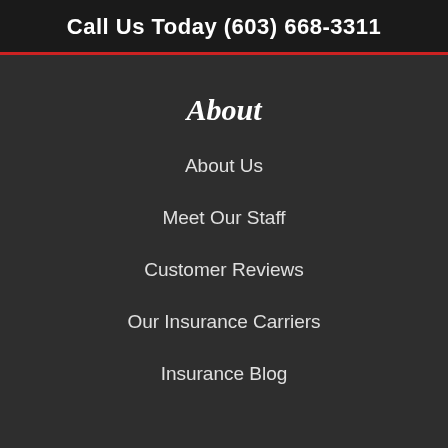Call Us Today (603) 668-3311
About
About Us
Meet Our Staff
Customer Reviews
Our Insurance Carriers
Insurance Blog